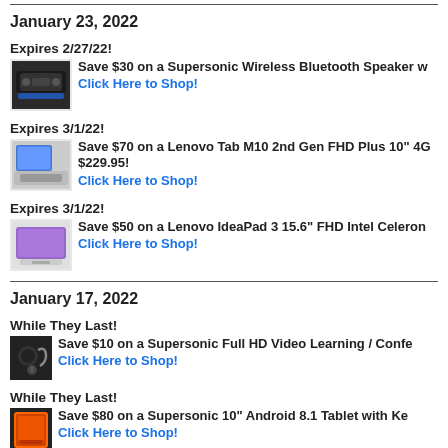January 23, 2022
Expires 2/27/22!
Save $30 on a Supersonic Wireless Bluetooth Speaker w...
Click Here to Shop!
Expires 3/1/22!
Save $70 on a Lenovo Tab M10 2nd Gen FHD Plus 10" 4G... $229.95!
Click Here to Shop!
Expires 3/1/22!
Save $50 on a Lenovo IdeaPad 3 15.6" FHD Intel Celeron...
Click Here to Shop!
January 17, 2022
While They Last!
Save $10 on a Supersonic Full HD Video Learning / Confe...
Click Here to Shop!
While They Last!
Save $80 on a Supersonic 10" Android 8.1 Tablet with Ke...
Click Here to Shop!